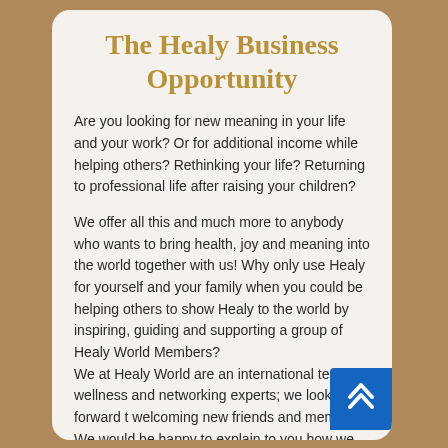The Healy Business Opportunity
Are you looking for new meaning in your life and your work? Or for additional income while helping others? Rethinking your life? Returning to professional life after raising your children?
We offer all this and much more to anybody who wants to bring health, joy and meaning into the world together with us! Why only use Healy for yourself and your family when you could be helping others to show Healy to the world by inspiring, guiding and supporting a group of Healy World Members? We at Healy World are an international team of wellness and networking experts; we look forward to welcoming new friends and members! We would be happy to explain to you how we can work together.